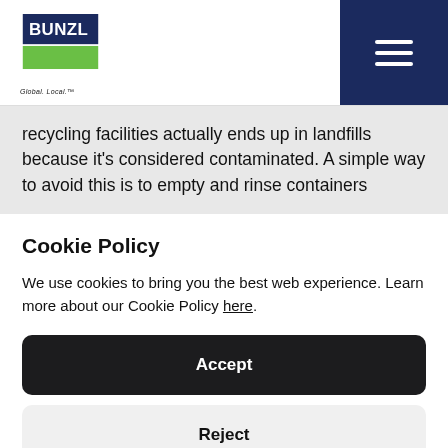Bunzl — Global. Local.
recycling facilities actually ends up in landfills because it's considered contaminated. A simple way to avoid this is to empty and rinse containers
Cookie Policy
We use cookies to bring you the best web experience. Learn more about our Cookie Policy here.
Accept
Reject